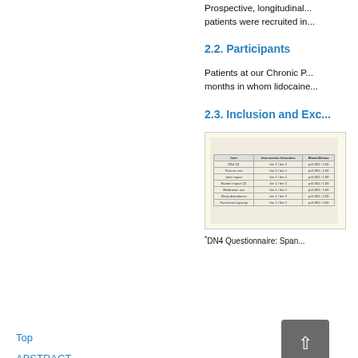Prospective, longitudinal... patients were recruited in...
2.2. Participants
Patients at our Chronic P... months in whom lidocaine...
2.3. Inclusion and Exc...
[Figure (table-as-image): A table with columns for Item, Intervention, Intraclass, Bland-Altman showing multiple rows of data]
Top
ABSTRACT
Introduction
Method
Results
Discussion
References
Appendix 1
*DN4 Questionnaire: Span...